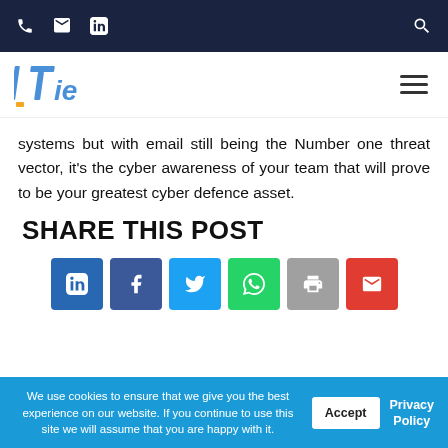Phone, Email, LinkedIn, Search icons in dark navy top bar
[Figure (logo): ITie company logo with blue and yellow stylized letters]
systems but with email still being the Number one threat vector, it's the cyber awareness of your team that will prove to be your greatest cyber defence asset.
SHARE THIS POST
[Figure (infographic): Share buttons: LinkedIn (blue), Facebook (dark blue), Twitter (light blue), WhatsApp (green), Print (grey), Email (red)]
We use cookies to ensure that we give you the best experience on our website. If you continue to use this site we will assume that you are happy with it.